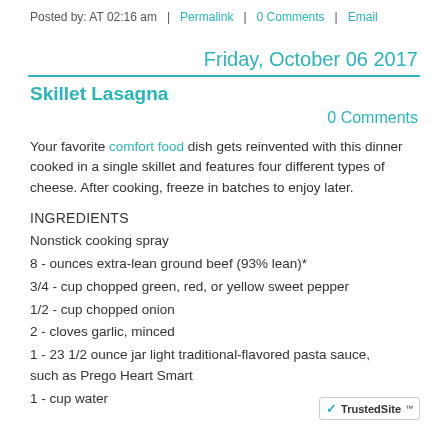Posted by: AT 02:16 am  |  Permalink  |  0 Comments  |  Email
Friday, October 06 2017
Skillet Lasagna
0 Comments
Your favorite comfort food dish gets reinvented with this dinner cooked in a single skillet and features four different types of cheese. After cooking, freeze in batches to enjoy later.
INGREDIENTS
Nonstick cooking spray
8 - ounces extra-lean ground beef (93% lean)*
3/4 - cup chopped green, red, or yellow sweet pepper
1/2 - cup chopped onion
2 - cloves garlic, minced
1 - 23 1/2 ounce jar light traditional-flavored pasta sauce, such as Prego Heart Smart
1 - cup water